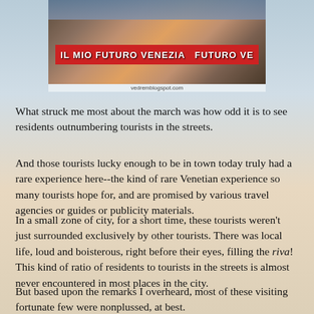[Figure (photo): Photograph of a large crowd of people marching and holding a red banner with white text reading 'IL MIO FUTURO VENEZIA FUTURO VE' along a waterfront path. People are seen in the background above the banner.]
What struck me most about the march was how odd it is to see residents outnumbering tourists in the streets.
And those tourists lucky enough to be in town today truly had a rare experience here--the kind of rare Venetian experience so many tourists hope for, and are promised by various travel agencies or guides or publicity materials.
In a small zone of city, for a short time, these tourists weren't just surrounded exclusively by other tourists. There was local life, loud and boisterous, right before their eyes, filling the riva! This kind of ratio of residents to tourists in the streets is almost never encountered in most places in the city.
But based upon the remarks I overheard, most of these visiting fortunate few were nonplussed, at best.